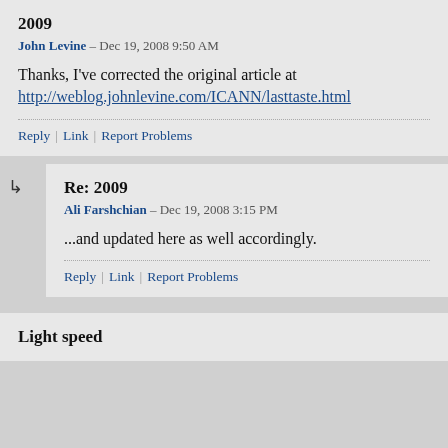2009
John Levine – Dec 19, 2008 9:50 AM
Thanks, I've corrected the original article at http://weblog.johnlevine.com/ICANN/lasttaste.html
Reply | Link | Report Problems
Re: 2009
Ali Farshchian – Dec 19, 2008 3:15 PM
...and updated here as well accordingly.
Reply | Link | Report Problems
Light speed